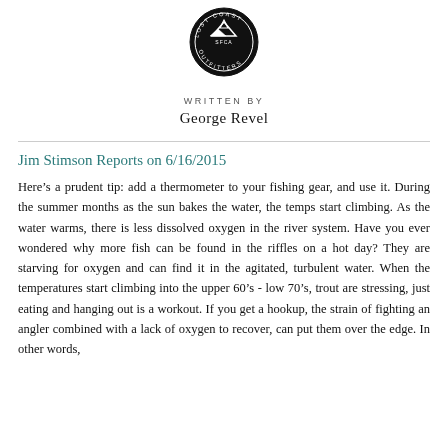[Figure (logo): Lost Coast Outfitters circular logo with mountain/tent icon and text around the border]
WRITTEN BY
George Revel
Jim Stimson Reports on 6/16/2015
Here’s a prudent tip: add a thermometer to your fishing gear, and use it. During the summer months as the sun bakes the water, the temps start climbing. As the water warms, there is less dissolved oxygen in the river system. Have you ever wondered why more fish can be found in the riffles on a hot day? They are starving for oxygen and can find it in the agitated, turbulent water. When the temperatures start climbing into the upper 60’s - low 70’s, trout are stressing, just eating and hanging out is a workout. If you get a hookup, the strain of fighting an angler combined with a lack of oxygen to recover, can put them over the edge. In other words,